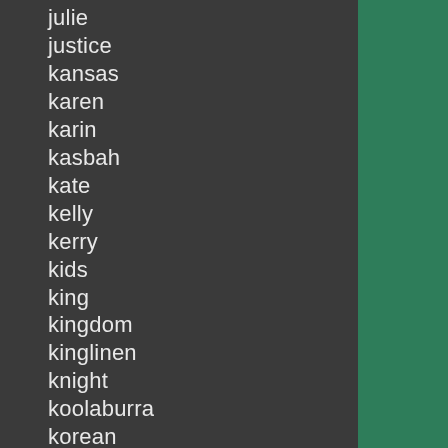julie
justice
kansas
karen
karin
kasbah
kate
kelly
kerry
kids
king
kingdom
kinglinen
knight
koolaburra
korean
lace
lacoste
lacostecatamaran